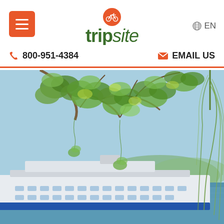[Figure (logo): Tripsite logo with bicycle icon in orange circle above text 'tripsite' in dark green, bold 'trip' and italic 'site']
≡
🌐 EN
📞 800-951-4384
✉ EMAIL US
[Figure (photo): Scenic photo of a river cruise ship on a river, viewed through hanging tree branches with green leaves (birch and weeping willow). Blue sky and hills in background.]